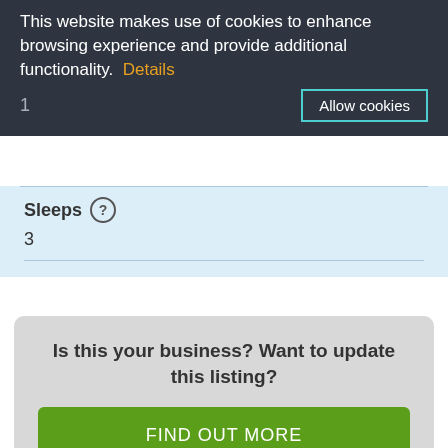This website makes use of cookies to enhance browsing experience and provide additional functionality.  Details
1
Allow cookies
Sleeps
3
Is this your business? Want to update this listing?
FIND OUT MORE